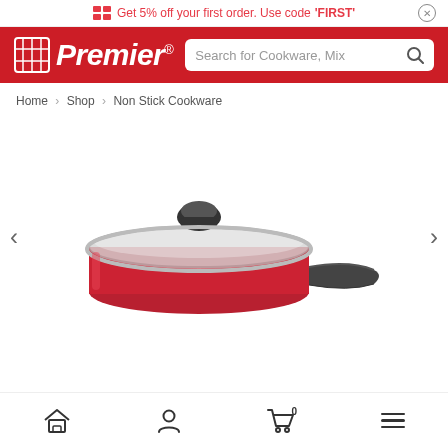Get 5% off your first order. Use code 'FIRST'
[Figure (logo): Premier brand logo with red background, white italic bold text 'Premier' with registered trademark symbol and stylized grid icon]
Search for Cookware, Mix
Home > Shop > Non Stick Cookware
[Figure (photo): Red non-stick saucepan with glass lid and dark grey handle, shown with lid on, viewed from a slightly elevated angle]
Home | Account | Cart (0) | Menu